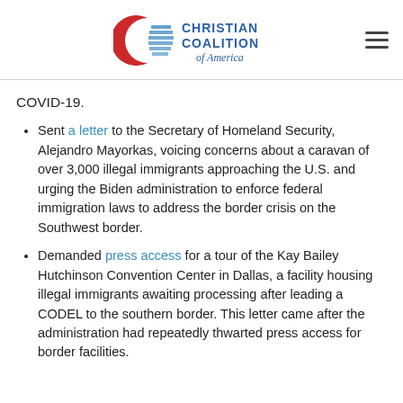Christian Coalition of America
COVID-19.
Sent a letter to the Secretary of Homeland Security, Alejandro Mayorkas, voicing concerns about a caravan of over 3,000 illegal immigrants approaching the U.S. and urging the Biden administration to enforce federal immigration laws to address the border crisis on the Southwest border.
Demanded press access for a tour of the Kay Bailey Hutchinson Convention Center in Dallas, a facility housing illegal immigrants awaiting processing after leading a CODEL to the southern border. This letter came after the administration had repeatedly thwarted press access for border facilities.